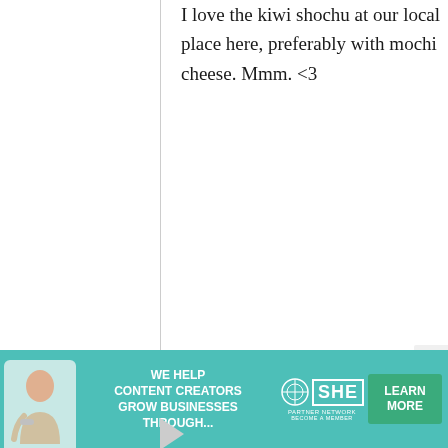I love the kiwi shochu at our local place here, preferably with mochi cheese. Mmm. <3
anon.
13 September, 2009 - 16:42
permalink
Re: Book review and giveaway: Izakaya, the Japanese Pub
[Figure (other): Advertisement banner: WE HELP CONTENT CREATORS GROW BUSINESSES THROUGH... SHE PARTNER NETWORK BECOME A MEMBER - LEARN MORE button]
X